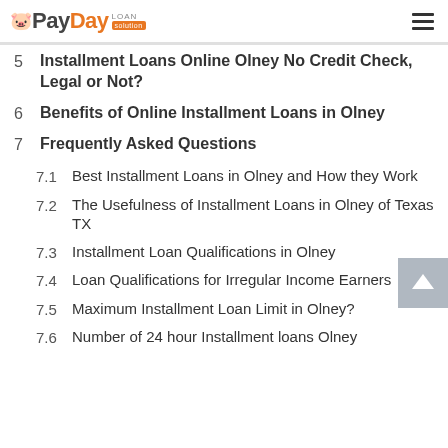PayDay Loan Solution
5  Installment Loans Online Olney No Credit Check, Legal or Not?
6  Benefits of Online Installment Loans in Olney
7  Frequently Asked Questions
7.1  Best Installment Loans in Olney and How they Work
7.2  The Usefulness of Installment Loans in Olney of Texas TX
7.3  Installment Loan Qualifications in Olney
7.4  Loan Qualifications for Irregular Income Earners
7.5  Maximum Installment Loan Limit in Olney?
7.6  Number of 24 hour Installment loans Olney